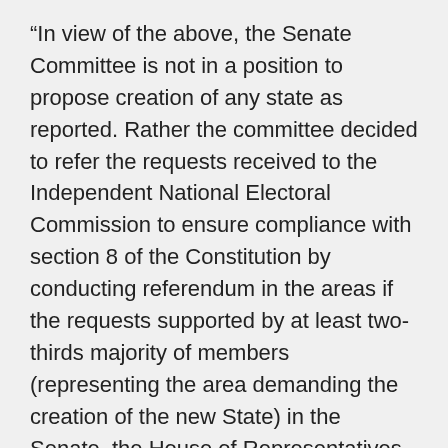“In view of the above, the Senate Committee is not in a position to propose creation of any state as reported. Rather the committee decided to refer the requests received to the Independent National Electoral Commission to ensure compliance with section 8 of the Constitution by conducting referendum in the areas if the requests supported by at least two-thirds majority of members (representing the area demanding the creation of the new State) in the Senate, the House of Representatives and the House of Assembly in the area.